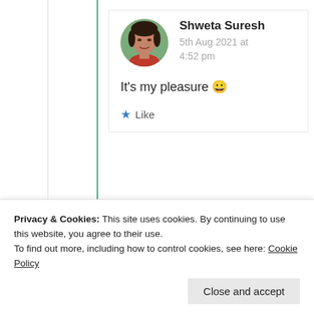[Figure (photo): Circular avatar photo of Shweta Suresh, a woman in a red top with blurred green background]
Shweta Suresh
5th Aug 2021 at 4:52 pm
It's my pleasure 😀
★ Like
Advertisements
[Figure (photo): Advertisement image showing Meta and Facebook branded cards/papers with colorful overlay]
Privacy & Cookies: This site uses cookies. By continuing to use this website, you agree to their use.
To find out more, including how to control cookies, see here: Cookie Policy
Close and accept